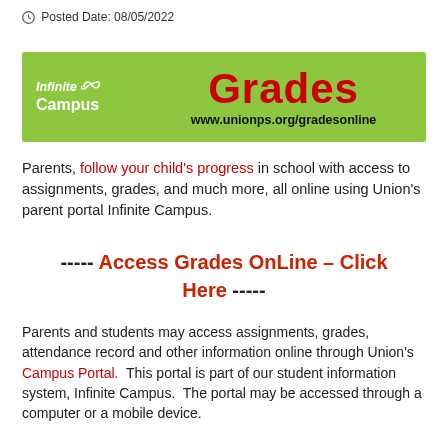Posted Date: 08/05/2022
[Figure (other): Infinite Campus Grades banner with green background, Infinite Campus logo on left, 'Grades' in large red bold text and 'www.unionps.org/gradesonline' in bold black text on the right]
Parents, follow your child's progress in school with access to assignments, grades, and much more, all online using Union's parent portal Infinite Campus.
----- Access Grades OnLine – Click Here -----
Parents and students may access assignments, grades, attendance record and other information online through Union's Campus Portal.  This portal is part of our student information system, Infinite Campus.  The portal may be accessed through a computer or a mobile device.